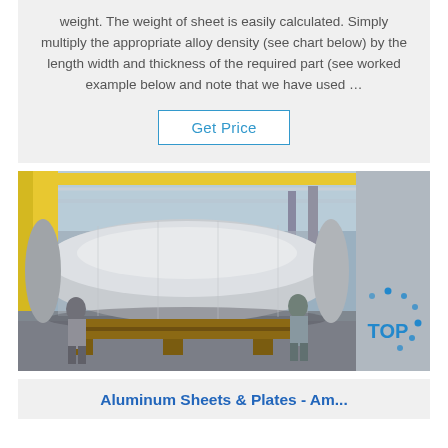weight. The weight of sheet is easily calculated. Simply multiply the appropriate alloy density (see chart below) by the length width and thickness of the required part (see worked example below and note that we have used …
Get Price
[Figure (photo): A large aluminum roll wrapped in silver/grey protective material, sitting on wooden pallets in an industrial warehouse. Workers in safety gear are visible beside it. Yellow crane structure visible in background.]
Aluminum Sheets & Plates - Am...